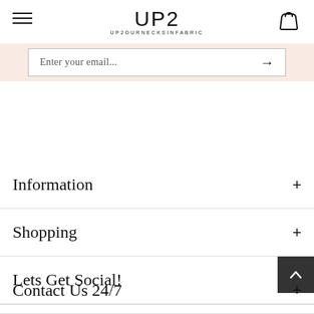UP2 UP2OURNECKSINFABRIC
Enter your email...
Information
Shopping
Lets Get Social!
Contact Us 24/7